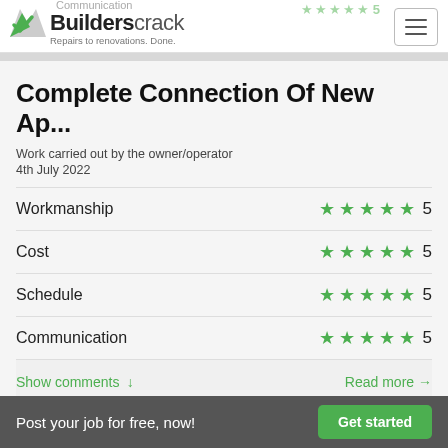Builderscrack – Repairs to renovations. Done.
Complete Connection Of New Ap...
Work carried out by the owner/operator
4th July 2022
| Category | Rating | Score |
| --- | --- | --- |
| Workmanship | ★★★★★ | 5 |
| Cost | ★★★★★ | 5 |
| Schedule | ★★★★★ | 5 |
| Communication | ★★★★★ | 5 |
Show comments ↓    Read more →
Post your job for free, now!   Get started